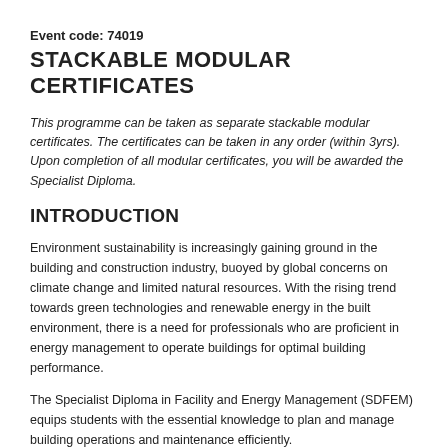Event code: 74019
STACKABLE MODULAR CERTIFICATES
This programme can be taken as separate stackable modular certificates. The certificates can be taken in any order (within 3yrs). Upon completion of all modular certificates, you will be awarded the Specialist Diploma.
INTRODUCTION
Environment sustainability is increasingly gaining ground in the building and construction industry, buoyed by global concerns on climate change and limited natural resources. With the rising trend towards green technologies and renewable energy in the built environment, there is a need for professionals who are proficient in energy management to operate buildings for optimal building performance.
The Specialist Diploma in Facility and Energy Management (SDFEM) equips students with the essential knowledge to plan and manage building operations and maintenance efficiently.